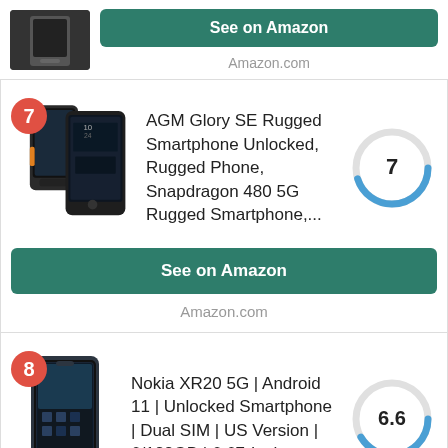[Figure (screenshot): Partial product card top strip with phone image and See on Amazon button]
Amazon.com
[Figure (photo): AGM Glory SE Rugged Smartphone product photo with red badge number 7]
AGM Glory SE Rugged Smartphone Unlocked, Rugged Phone, Snapdragon 480 5G Rugged Smartphone,...
[Figure (donut-chart): Score]
See on Amazon
Amazon.com
[Figure (photo): Nokia XR20 5G smartphone product photo with red badge number 8]
Nokia XR20 5G | Android 11 | Unlocked Smartphone | Dual SIM | US Version | 6/128GB | 6.67-Inch...
[Figure (donut-chart): Score]
See on Amazon